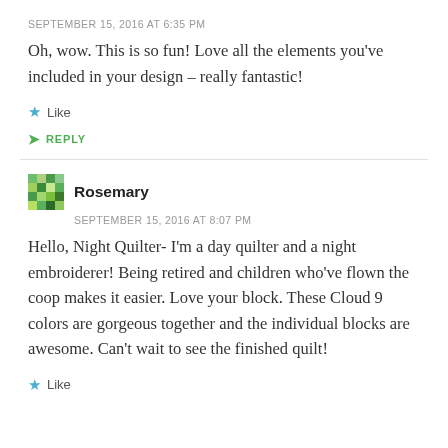SEPTEMBER 15, 2016 AT 6:35 PM
Oh, wow. This is so fun! Love all the elements you've included in your design – really fantastic!
Like
REPLY
Rosemary
SEPTEMBER 15, 2016 AT 8:07 PM
Hello, Night Quilter- I'm a day quilter and a night embroiderer! Being retired and children who've flown the coop makes it easier. Love your block. These Cloud 9 colors are gorgeous together and the individual blocks are awesome. Can't wait to see the finished quilt!
Like